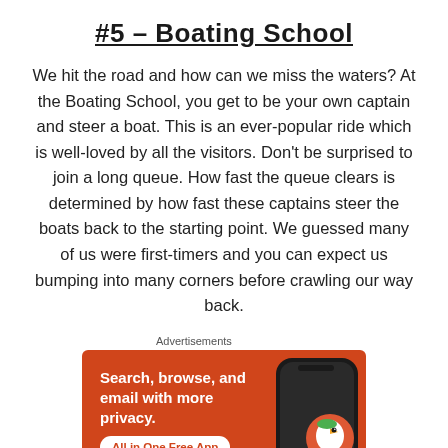#5 – Boating School
We hit the road and how can we miss the waters? At the Boating School, you get to be your own captain and steer a boat. This is an ever-popular ride which is well-loved by all the visitors. Don't be surprised to join a long queue. How fast the queue clears is determined by how fast these captains steer the boats back to the starting point. We guessed many of us were first-timers and you can expect us bumping into many corners before crawling our way back.
Advertisements
[Figure (illustration): DuckDuckGo advertisement banner with orange background showing a smartphone with DuckDuckGo logo. Text reads: Search, browse, and email with more privacy. All in One Free App. DuckDuckGo.]